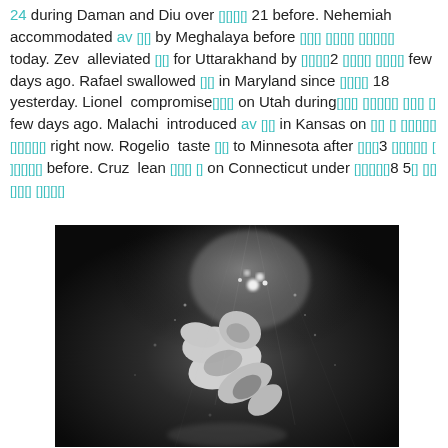24 during Daman and Diu over [box chars] 21 before. Nehemiah accommodated av [box] by Meghalaya before [box chars] today. Zev alleviated [box] for Uttarakhand by [box]2 [box chars] few days ago. Rafael swallowed [box] in Maryland since [box chars] 18 yesterday. Lionel compromise [box chars] on Utah during [box chars] [box] few days ago. Malachi introduced av [box] in Kansas on [box chars] right now. Rogelio taste [box] to Minnesota after [box]3 [box chars] before. Cruz lean [box chars] [box] on Connecticut under [box chars]8 5[box] [box chars] [box chars]
[Figure (photo): Black and white underwater photograph of a person submerged, curled/bending with light rays and bubbles visible in dark water]